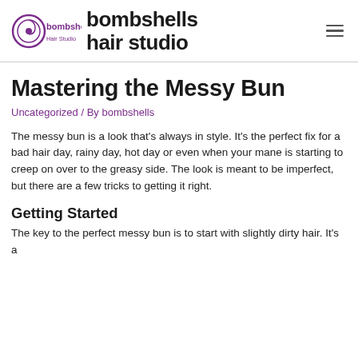[Figure (logo): Bombshells Hair Studio logo with spiral graphic and text 'bombshells Hair Studio']
bombshells hair studio
Mastering the Messy Bun
Uncategorized / By bombshells
The messy bun is a look that's always in style. It's the perfect fix for a bad hair day, rainy day, hot day or even when your mane is starting to creep on over to the greasy side. The look is meant to be imperfect, but there are a few tricks to getting it right.
Getting Started
The key to the perfect messy bun is to start with slightly dirty hair. It's a